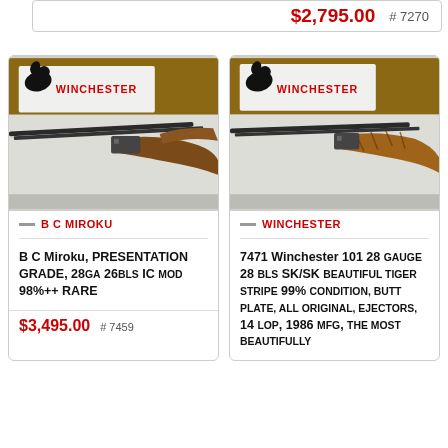$2,795.00  # 7270
[Figure (photo): Photo of B C Miroku shotgun with Winchester logo banner in background]
B C MIROKU
B C Miroku, PRESENTATION GRADE, 28ga 26bls ic Mod 98%++ RARE
$3,495.00  # 7459
[Figure (photo): Photo of Winchester 101 shotgun with Winchester logo banner in background]
WINCHESTER
7471 Winchester 101 28 Gauge 28 Bls SK/SK Beautiful Tiger Stripe 99% Condition, Butt Plate, All Original, Ejectors, 14 Lop, 1986 Mfg, The Most Beautifully